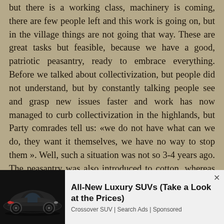but there is a working class, machinery is coming, there are few people left and this work is going on, but in the village things are not going that way. These are great tasks but feasible, because we have a good, patriotic peasantry, ready to embrace everything. Before we talked about collectivization, but people did not understand, but by constantly talking people see and grasp new issues faster and work has now managed to curb collectivization in the highlands, but Party comrades tell us: «we do not have what can we do, they want it themselves, we have no way to stop them ». Well, such a situation was not so 3-4 years ago. The peasantry was also introduced to cotton, whereas before they did not know it, as well as to beets. Who planted it before, in Korca? The peasant did not know
[Figure (other): Advertisement banner showing a dark luxury sports car/SUV with text 'All-New Luxury SUVs (Take a Look at the Prices)' and 'Crossover SUV | Search Ads | Sponsored']